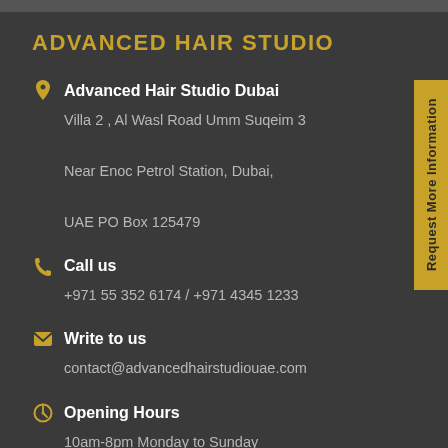ADVANCED HAIR STUDIO
Advanced Hair Studio Dubai
Villa 2 , Al Wasl Road Umm Suqeim 3
Near Enoc Petrol Station, Dubai,
UAE PO Box 125479
Call us
+971 55 352 6174 / +971 4345 1233
Write to us
contact@advancedhairstudiouae.com
Opening Hours
10am-8pm Monday to Sunday